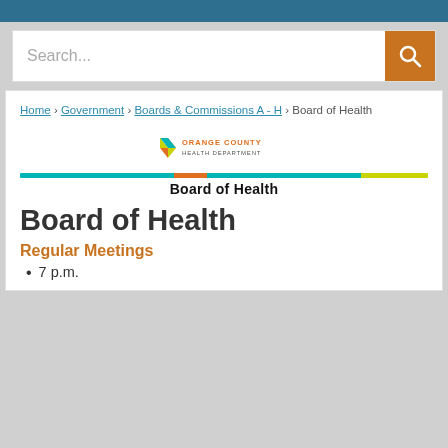Search...
[Figure (logo): Orange County Health Department logo with colorful arrow shapes and text]
Home › Government › Boards & Commissions A - H › Board of Health
Board of Health
Regular Meetings
7 p.m.